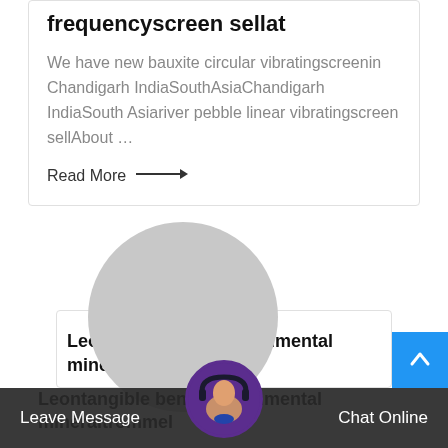frequencyscreen sellat
We have new bauxite circular vibratingscreenin Chandigarh IndiaSouthAsiaChandigarh IndiaSouth Asiariver pebble linear vibratingscreen sellAbout …
Read More →
[Figure (photo): Large gray circle placeholder image]
Leontangible benefits environmental mineraltrommel
Leave Message   Chat Online